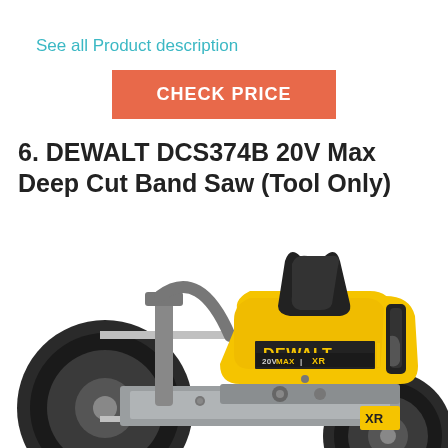See all Product description
CHECK PRICE
6. DEWALT DCS374B 20V Max Deep Cut Band Saw (Tool Only)
[Figure (photo): DEWALT DCS374B 20V Max XR Deep Cut Band Saw tool shown in yellow and black, with band saw blade, wheels, handle, and XR label visible]